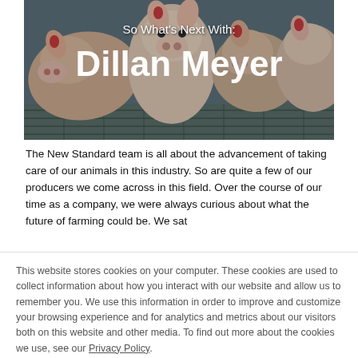[Figure (photo): Photo of pigs in a barn/farm setting with slatted floor. Text overlay reads 'So What's Next With: Dillan Meyer' in white bold typography.]
The New Standard team is all about the advancement of taking care of our animals in this industry. So are quite a few of our producers we come across in this field. Over the course of our time as a company, we were always curious about what the future of farming could be. We sat
This website stores cookies on your computer. These cookies are used to collect information about how you interact with our website and allow us to remember you. We use this information in order to improve and customize your browsing experience and for analytics and metrics about our visitors both on this website and other media. To find out more about the cookies we use, see our Privacy Policy.